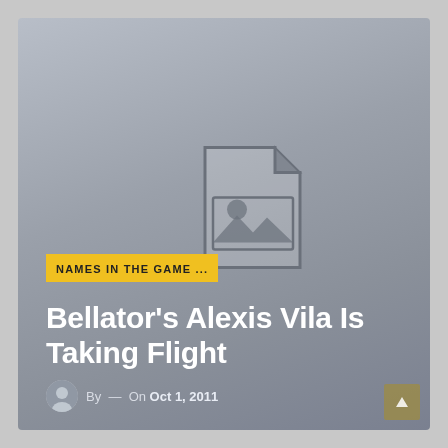[Figure (illustration): Placeholder image icon (document with image placeholder graphic) centered in a grey gradient background]
NAMES IN THE GAME ...
Bellator's Alexis Vila Is Taking Flight
By — On Oct 1, 2011